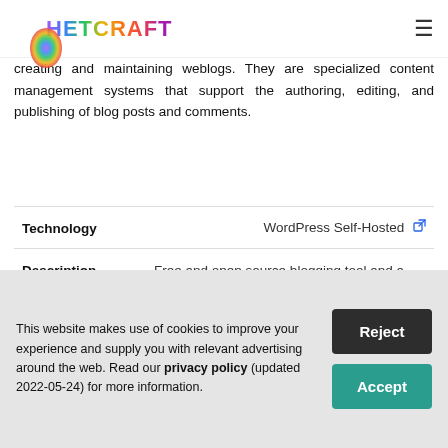Netcraft
creating and maintaining weblogs. They are specialized content management systems that support the authoring, editing, and publishing of blog posts and comments.
|  |  |
| --- | --- |
| Technology | WordPress Self-Hosted |
| Description | Free and open source blogging tool and a content management system (CMS) based on PHP and MySQL (hosted independently) |
This website makes use of cookies to improve your experience and supply you with relevant advertising around the web. Read our privacy policy (updated 2022-05-24) for more information.